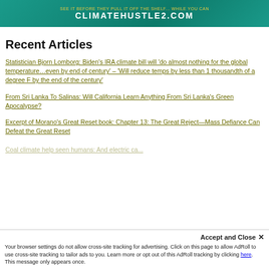[Figure (screenshot): Advertisement banner for climatehustle2.com with teal/green background and yellow-white text]
Recent Articles
Statistician Bjorn Lomborg: Biden's IRA climate bill will 'do almost nothing for the global temperature…even by end of century' – 'Will reduce temps by less than 1 thousandth of a degree F by the end of the century'
From Sri Lanka To Salinas: Will California Learn Anything From Sri Lanka's Green Apocalypse?
Excerpt of Morano's Great Reset book: Chapter 13: The Great Reject—Mass Defiance Can Defeat the Great Reset
Coal climate help seen humans: And electric ca...
Accept and Close ✕
Your browser settings do not allow cross-site tracking for advertising. Click on this page to allow AdRoll to use cross-site tracking to tailor ads to you. Learn more or opt out of this AdRoll tracking by clicking here. This message only appears once.